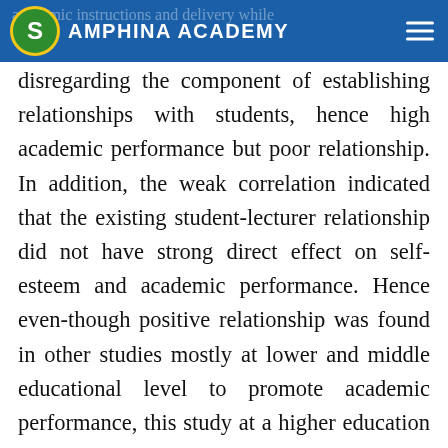AMPHINA ACADEMY
academic instructions and delivery while disregarding the component of establishing relationships with students, hence high academic performance but poor relationship. In addition, the weak correlation indicated that the existing student-lecturer relationship did not have strong direct effect on self-esteem and academic performance. Hence even-though positive relationship was found in other studies mostly at lower and middle educational level to promote academic performance, this study at a higher education revealed the reverse. This might be possible especially at the higher education at which point the long- term exposures of socio-cultural